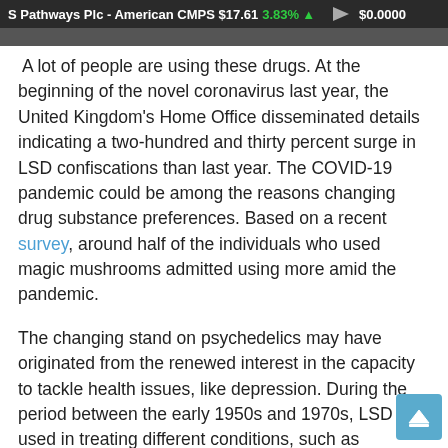S Pathways Plc - American CMPS $17.61 3.83% ▲  $0.0000
A lot of people are using these drugs. At the beginning of the novel coronavirus last year, the United Kingdom's Home Office disseminated details indicating a two-hundred and thirty percent surge in LSD confiscations than last year. The COVID-19 pandemic could be among the reasons changing drug substance preferences. Based on a recent survey, around half of the individuals who used magic mushrooms admitted using more amid the pandemic.
The changing stand on psychedelics may have originated from the renewed interest in the capacity to tackle health issues, like depression. During the period between the early 1950s and 1970s, LSD was used in treating different conditions, such as schizophrenia, childhood autism, sexual dysfunction, and alcohol-use disorders.